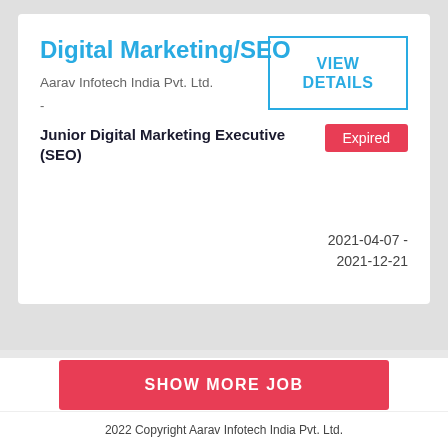Digital Marketing/SEO
Aarav Infotech India Pvt. Ltd.
-
Junior Digital Marketing Executive (SEO)
VIEW DETAILS
Expired
2021-04-07 - 2021-12-21
SHOW MORE JOB
2022 Copyright Aarav Infotech India Pvt. Ltd.